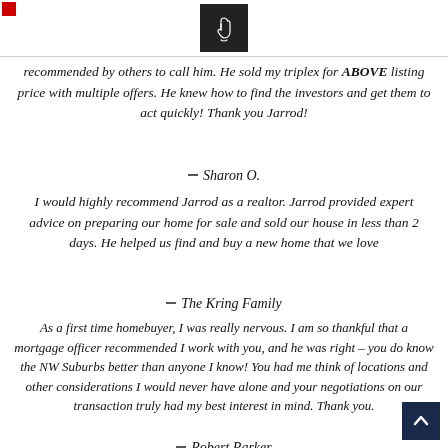[Figure (logo): Hand icon in dark square box at top center]
recommended by others to call him. He sold my triplex for ABOVE listing price with multiple offers. He knew how to find the investors and get them to act quickly! Thank you Jarrod!
Sharon O.
I would highly recommend Jarrod as a realtor. Jarrod provided expert advice on preparing our home for sale and sold our house in less than 2 days. He helped us find and buy a new home that we love
The Kring Family
As a first time homebuyer, I was really nervous. I am so thankful that a mortgage officer recommended I work with you, and he was right – you do know the NW Suburbs better than anyone I know! You had me think of locations and other considerations I would never have alone and your negotiations on our transaction truly had my best interest in mind. Thank you.
Robert Parker